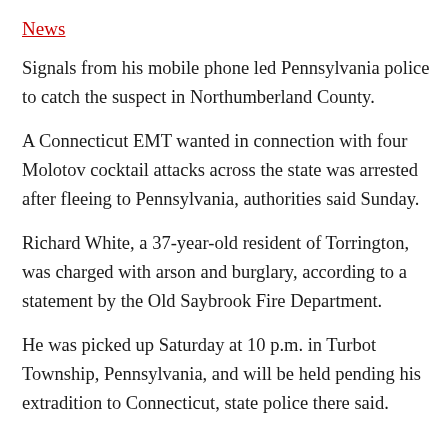News
Signals from his mobile phone led Pennsylvania police to catch the suspect in Northumberland County.
A Connecticut EMT wanted in connection with four Molotov cocktail attacks across the state was arrested after fleeing to Pennsylvania, authorities said Sunday.
Richard White, a 37-year-old resident of Torrington, was charged with arson and burglary, according to a statement by the Old Saybrook Fire Department.
He was picked up Saturday at 10 p.m. in Turbot Township, Pennsylvania, and will be held pending his extradition to Connecticut, state police there said.